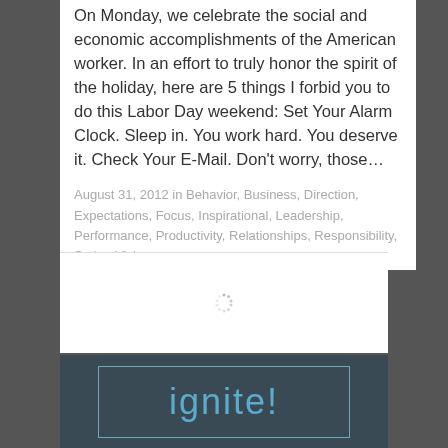On Monday, we celebrate the social and economic accomplishments of the American worker. In an effort to truly honor the spirit of the holiday, here are 5 things I forbid you to do this Labor Day weekend: Set Your Alarm Clock. Sleep in. You work hard. You deserve it. Check Your E-Mail. Don't worry, those…
August 31, 2012 in Behavior, Business, Direction, Expectations, Focus, Inspirational, Leadership, Performance, Productivity, Relationships, Responsibility, Satire, Vision.
[Figure (other): Loading spinner icon (gray circular dots)]
[Figure (logo): Ignite! logo — light blue text 'ignite!' on dark blue-gray background with cyan border rectangle]